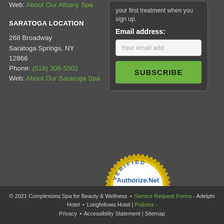Web: About Our Albany Spa
SARATOGA LOCATION
268 Broadway
Saratoga Springs, NY 12866
Phone: (518) 306-5502
Web: About Our Saratoga Spa
your first treatment when you sign up.
Email address:
Your email add
SUBSCRIBE
[Figure (logo): Authorize.Net Verified Merchant badge - gold circular seal with Authorize.Net text and Click arrow in center]
© 2021 Complexions Spa for Beauty & Wellness • Service Request Forms - Adelphi Hotel • Longfellows Hotel | Policies - Privacy • Accessibility Statement | Sitemap